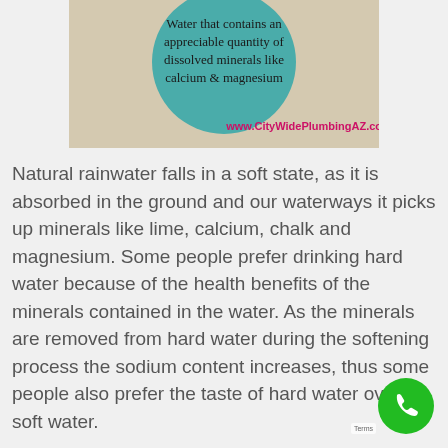[Figure (infographic): An infographic showing a teal/turquoise circle on a beige textured background. Text inside the circle reads: 'Water that contains an appreciable quantity of dissolved minerals like calcium & magnesium'. Below the circle on the beige background: 'www.CityWidePlumbingAZ.com' in pink/magenta text.]
Natural rainwater falls in a soft state, as it is absorbed in the ground and our waterways it picks up minerals like lime, calcium, chalk and magnesium. Some people prefer drinking hard water because of the health benefits of the minerals contained in the water. As the minerals are removed from hard water during the softening process the sodium content increases, thus some people also prefer the taste of hard water over soft water.